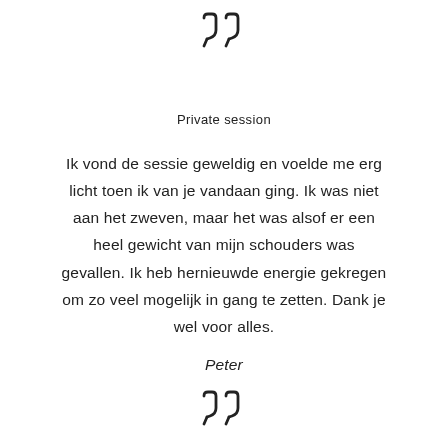[Figure (illustration): Large closing double quotation mark icon at top center of page]
Private session
Ik vond de sessie geweldig en voelde me erg licht toen ik van je vandaan ging. Ik was niet aan het zweven, maar het was alsof er een heel gewicht van mijn schouders was gevallen. Ik heb hernieuwde energie gekregen om zo veel mogelijk in gang te zetten. Dank je wel voor alles.
Peter
[Figure (illustration): Large closing double quotation mark icon at bottom center of page]